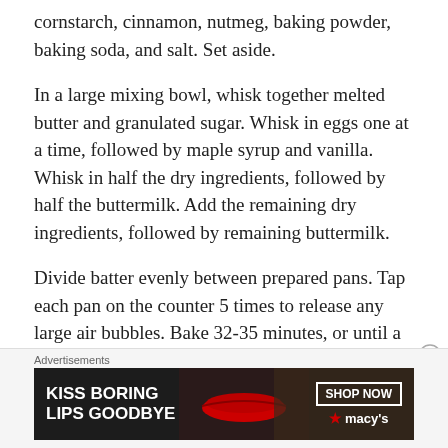cornstarch, cinnamon, nutmeg, baking powder, baking soda, and salt. Set aside.
In a large mixing bowl, whisk together melted butter and granulated sugar. Whisk in eggs one at a time, followed by maple syrup and vanilla. Whisk in half the dry ingredients, followed by half the buttermilk. Add the remaining dry ingredients, followed by remaining buttermilk.
Divide batter evenly between prepared pans. Tap each pan on the counter 5 times to release any large air bubbles. Bake 32-35 minutes, or until a toothpick inserted in the centers comes out clean. Let cakes cool in their pans for 15 minutes. Run a small, think knife
Advertisements
[Figure (other): Advertisement banner for Macy's lipstick: 'KISS BORING LIPS GOODBYE' with SHOP NOW button and Macy's star logo]